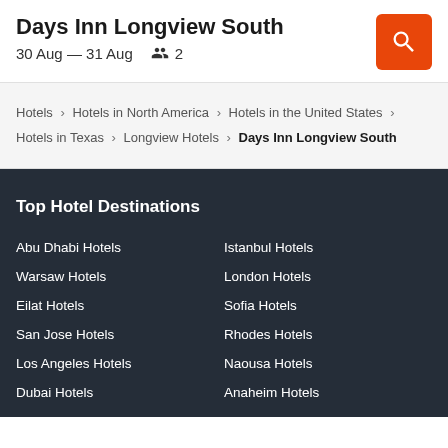Days Inn Longview South
30 Aug — 31 Aug   2
Hotels › Hotels in North America › Hotels in the United States › Hotels in Texas › Longview Hotels › Days Inn Longview South
Top Hotel Destinations
Abu Dhabi Hotels
Istanbul Hotels
Warsaw Hotels
London Hotels
Eilat Hotels
Sofia Hotels
San Jose Hotels
Rhodes Hotels
Los Angeles Hotels
Naousa Hotels
Dubai Hotels
Anaheim Hotels